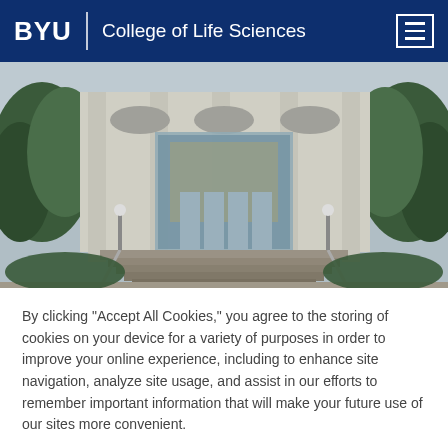BYU | College of Life Sciences
[Figure (photo): Exterior photo of a modern university building with large glass windows, wide staircase leading to the entrance, flanked by trees on both sides.]
By clicking “Accept All Cookies,” you agree to the storing of cookies on your device for a variety of purposes in order to improve your online experience, including to enhance site navigation, analyze site usage, and assist in our efforts to remember important information that will make your future use of our sites more convenient.
Cookies Settings
Accept All Cookies